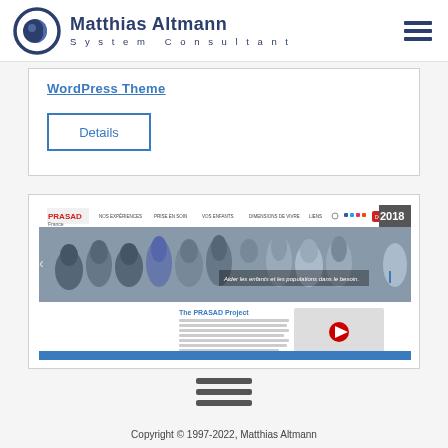Matthias Altmann System Consultant
WordPress Theme
Details
[Figure (screenshot): Screenshot of the PRASAD France WordPress website showing a header with children smiling, navigation bar, The PRASAD Project section text, and a video thumbnail. Year badge: 2018.]
Copyright © 1997-2022, Matthias Altmann